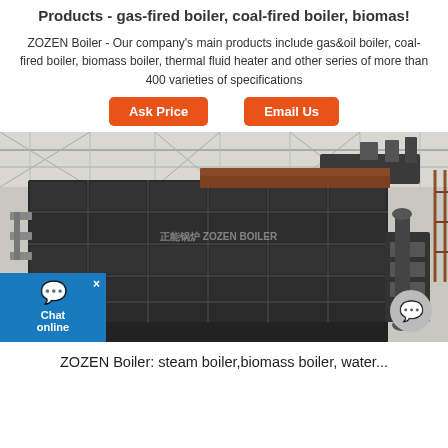Products - gas-fired boiler, coal-fired boiler, biomas!
ZOZEN Boiler - Our company's main products include gas&oil boiler, coal-fired boiler, biomass boiler, thermal fluid heater and other series of more than 400 varieties of specifications
Ask Price
Email Us
[Figure (photo): Large industrial coal-fired or biomass boiler in a factory setting. The boiler is a large black rectangular unit with gridded panels, pipes, and mechanical components. Inside a warehouse with steel roof trusses.]
ZOZEN Boiler: steam boiler,biomass boiler, water...